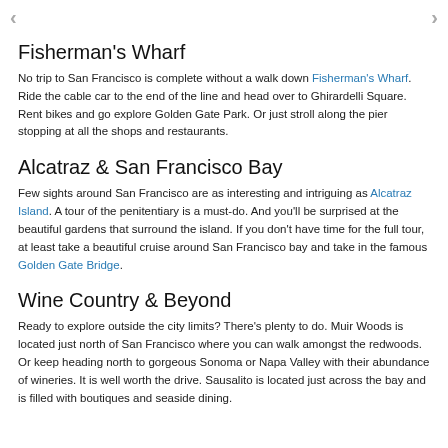< >
Fisherman's Wharf
No trip to San Francisco is complete without a walk down Fisherman's Wharf. Ride the cable car to the end of the line and head over to Ghirardelli Square. Rent bikes and go explore Golden Gate Park. Or just stroll along the pier stopping at all the shops and restaurants.
Alcatraz & San Francisco Bay
Few sights around San Francisco are as interesting and intriguing as Alcatraz Island. A tour of the penitentiary is a must-do. And you'll be surprised at the beautiful gardens that surround the island. If you don't have time for the full tour, at least take a beautiful cruise around San Francisco bay and take in the famous Golden Gate Bridge.
Wine Country & Beyond
Ready to explore outside the city limits? There's plenty to do. Muir Woods is located just north of San Francisco where you can walk amongst the redwoods. Or keep heading north to gorgeous Sonoma or Napa Valley with their abundance of wineries. It is well worth the drive. Sausalito is located just across the bay and is filled with boutiques and seaside dining.